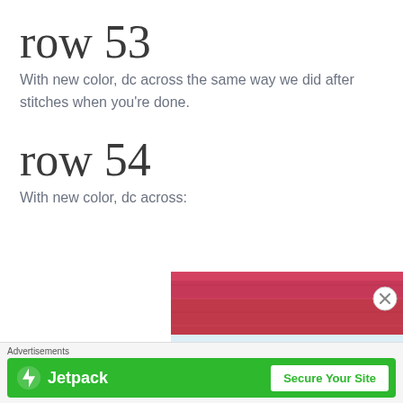row 53
With new color, dc across the same way we did after stitches when you're done.
row 54
With new color, dc across:
[Figure (photo): Close-up photo of crochet stitches showing rows of red, light blue/white, and purple/lavender colored yarn.]
Advertisements
[Figure (logo): Jetpack advertisement banner with green background, Jetpack logo and text, and a 'Secure Your Site' button.]